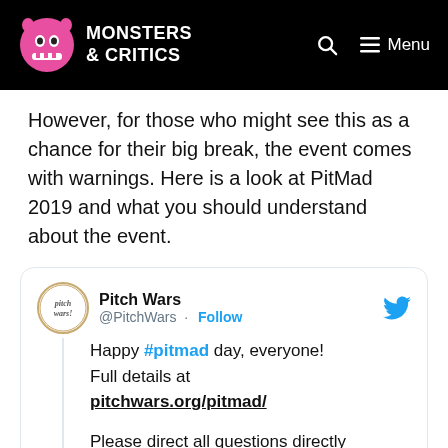Monsters & Critics
However, for those who might see this as a chance for their big break, the event comes with warnings. Here is a look at PitMad 2019 and what you should understand about the event.
[Figure (screenshot): Embedded tweet from @PitchWars: 'Happy #pitmad day, everyone! Full details at pitchwars.org/pitmad/ Please direct all questions directly to @pitchwars']